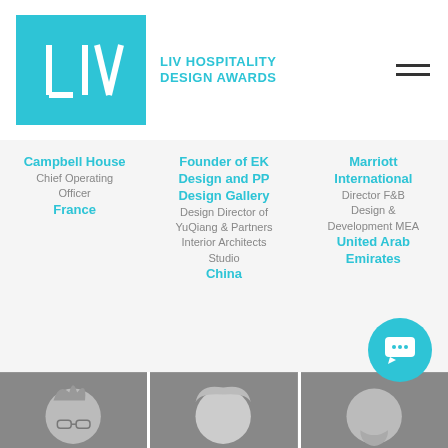[Figure (logo): LIV Hospitality Design Awards logo — teal square with stylized LIV letters and brand name text]
Campbell House
Chief Operating Officer
France
Founder of EK Design and PP Design Gallery
Design Director of YuQiang & Partners Interior Architects Studio
China
Marriott International
Director F&B Design & Development MEA
United Arab Emirates
[Figure (photo): Black and white portrait photo of Ivo Christow]
[Figure (photo): Black and white portrait photo of Melissa Messmer]
[Figure (photo): Black and white portrait photo of Bittor Sanchez Monasterio]
Ivo Christow
Krucker Partner
Melissa
Messmer
Bittor Sanchez
Monasterio